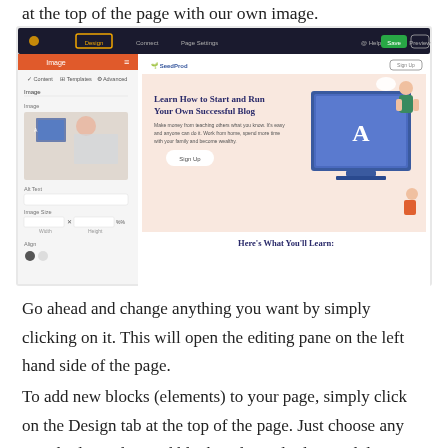at the top of the page with our own image.
[Figure (screenshot): SeedProd page builder interface showing an image block being edited on the left panel, with a landing page preview on the right showing 'Learn How to Start and Run Your Own Successful Blog' heading, a Sign Up button, and 'Here's What You'll Learn:' section.]
Go ahead and change anything you want by simply clicking on it. This will open the editing pane on the left hand side of the page.
To add new blocks (elements) to your page, simply click on the Design tab at the top of the page. Just choose any Standard or Advanced block and simply drag and drop it into place on your page.